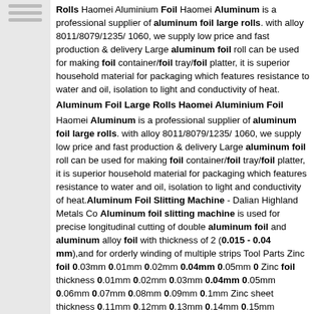Rolls Haomei Aluminium Foil Haomei Aluminum is a professional supplier of aluminum foil large rolls. with alloy 8011/8079/1235/ 1060, we supply low price and fast production & delivery Large aluminum foil roll can be used for making foil container/foil tray/foil platter, it is superior household material for packaging which features resistance to water and oil, isolation to light and conductivity of heat.
Aluminum Foil Large Rolls Haomei Aluminium Foil
Haomei Aluminum is a professional supplier of aluminum foil large rolls. with alloy 8011/8079/1235/ 1060, we supply low price and fast production & delivery Large aluminum foil roll can be used for making foil container/foil tray/foil platter, it is superior household material for packaging which features resistance to water and oil, isolation to light and conductivity of heat.Aluminum Foil Slitting Machine - Dalian Highland Metals Co Aluminum foil slitting machine is used for precise longitudinal cutting of double aluminum foil and aluminum alloy foil with thickness of 2 (0.015 - 0.04 mm),and for orderly winding of multiple strips Tool Parts Zinc foil 0.03mm 0.01mm 0.02mm 0.04mm 0.05mm 0 Zinc foil thickness 0.01mm 0.02mm 0.03mm 0.04mm 0.05mm 0.06mm 0.07mm 0.08mm 0.09mm 0.1mm Zinc sheet thickness 0.11mm 0.12mm 0.13mm 0.14mm 0.15mm 0.16mm 0.17mm 0.18mm 0.19mm 0.2mm
Notice: do not direct to pay the order, do not direct to give the